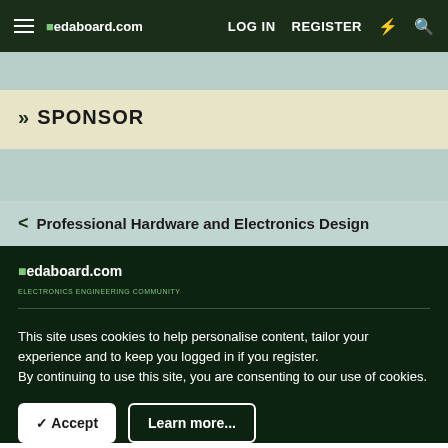edaboard.com | LOG IN | REGISTER
» SPONSOR
< Professional Hardware and Electronics Design
[Figure (logo): edaboard.com logo in footer]
This site uses cookies to help personalise content, tailor your experience and to keep you logged in if you register.
By continuing to use this site, you are consenting to our use of cookies.